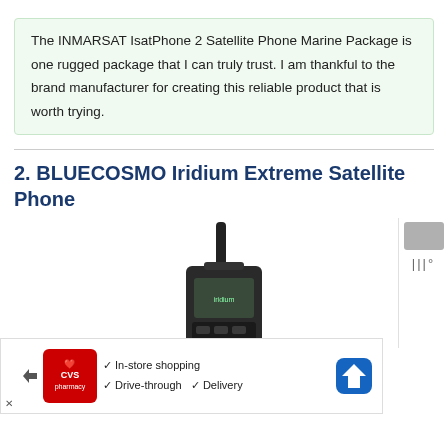The INMARSAT IsatPhone 2 Satellite Phone Marine Package is one rugged package that I can truly trust. I am thankful to the brand manufacturer for creating this reliable product that is worth trying.
2. BLUECOSMO Iridium Extreme Satellite Phone
[Figure (photo): Photo of a BLUECOSMO Iridium Extreme satellite phone (black rugged handset with antenna), partially visible at the bottom of the page. An advertisement banner for CVS Pharmacy overlays the bottom, showing In-store shopping, Drive-through, and Delivery options with a CVS logo and navigation icon.]